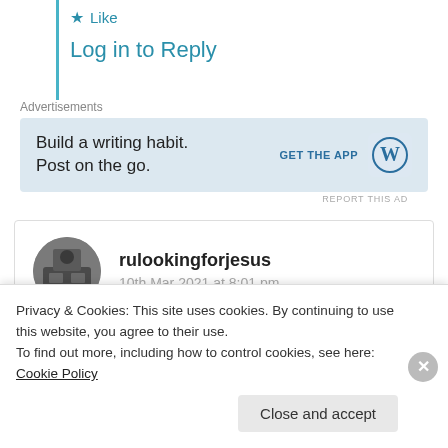★ Like
Log in to Reply
Advertisements
[Figure (infographic): WordPress advertisement: 'Build a writing habit. Post on the go.' with GET THE APP button and WordPress logo]
REPORT THIS AD
rulookingforjesus
10th Mar 2021 at 8:01 pm
Think your work is awesome.
Privacy & Cookies: This site uses cookies. By continuing to use this website, you agree to their use.
To find out more, including how to control cookies, see here: Cookie Policy
Close and accept